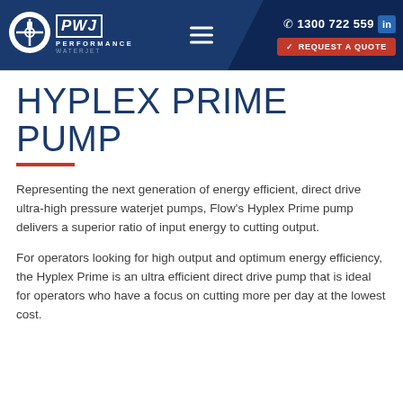[Figure (logo): PWJ Performance Waterjet logo - circular white logo with a tower/drill icon, alongside text 'PWJ PERFORMANCE WATERJET' in white on dark navy header]
1300 722 559 | REQUEST A QUOTE
HYPLEX PRIME PUMP
Representing the next generation of energy efficient, direct drive ultra-high pressure waterjet pumps, Flow's Hyplex Prime pump delivers a superior ratio of input energy to cutting output.
For operators looking for high output and optimum energy efficiency, the Hyplex Prime is an ultra efficient direct drive pump that is ideal for operators who have a focus on cutting more per day at the lowest cost.